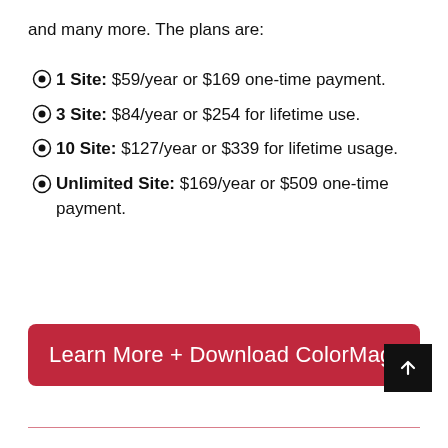and many more. The plans are:
1 Site: $59/year or $169 one-time payment.
3 Site: $84/year or $254 for lifetime use.
10 Site: $127/year or $339 for lifetime usage.
Unlimited Site: $169/year or $509 one-time payment.
Learn More + Download ColorMag!